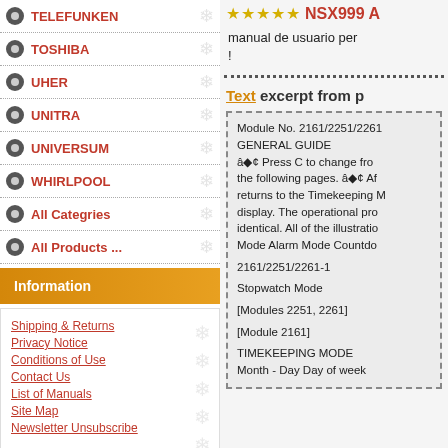TELEFUNKEN
TOSHIBA
UHER
UNITRA
UNIVERSUM
WHIRLPOOL
All Categries
All Products ...
Information
Shipping & Returns
Privacy Notice
Conditions of Use
Contact Us
List of Manuals
Site Map
Newsletter Unsubscribe
Featured Product
NSX999 A
manual de usuario per !
Text excerpt from p
Module No. 2161/2251/2261 GENERAL GUIDE â◆¢ Press C to change from the following pages. â◆¢ Af returns to the Timekeeping M display. The operational pro identical. All of the illustratio Mode Alarm Mode Countdo

2161/2251/2261-1

Stopwatch Mode

[Modules 2251, 2261]

[Module 2161]

TIMEKEEPING MODE
Month - Day Day of week

ALARM MODE
Alarm on indicator Hourly ti

To set the time and date
1. Press A while in the Time